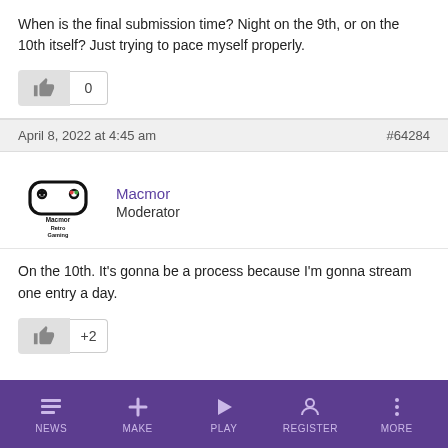When is the final submission time?  Night on the 9th, or on the 10th itself?  Just trying to pace myself properly.
April 8, 2022 at 4:45 am  #64284
Macmor
Moderator
On the 10th. It's gonna be a process because I'm gonna stream one entry a day.
NEWS  MAKE  PLAY  REGISTER  MORE